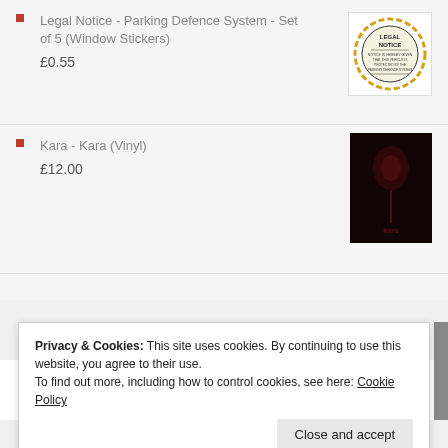Legal Notice - Parking Defence System - Set of 5 (Window Stickers)
£0.55
[Figure (illustration): Round sticker with 'Legal Notice' text and black/yellow striped border]
Kara - Kara (Vinyl)
£12.00
[Figure (photo): Dark album cover for Kara - Kara vinyl record, dark red and black tones]
Privacy & Cookies: This site uses cookies. By continuing to use this website, you agree to their use.
To find out more, including how to control cookies, see here: Cookie Policy
Close and accept
Newsletter